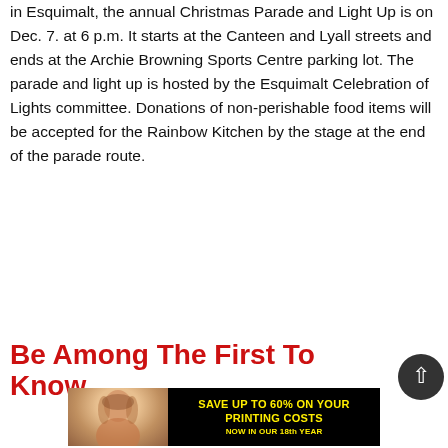in Esquimalt, the annual Christmas Parade and Light Up is on Dec. 7. at 6 p.m. It starts at the Canteen and Lyall streets and ends at the Archie Browning Sports Centre parking lot. The parade and light up is hosted by the Esquimalt Celebration of Lights committee. Donations of non-perishable food items will be accepted for the Rainbow Kitchen by the stage at the end of the parade route.
Be Among The First To Know
[Figure (infographic): Advertisement banner with a woman's photo on the left and text 'SAVE UP TO 60% ON YOUR PRINTING COSTS NOW IN OUR 18th YEAR' in yellow on black background on the right.]